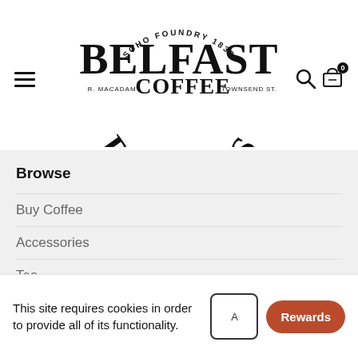[Figure (logo): Belfast Coffee Roasters logo with arched text 'SOHO FOUNDRY 1838' at top, large bold 'BELFAST' text, 'R. MACADAM COFFEE TOWNSEND ST.' in middle, and 'ROASTERS' at bottom]
Browse
Buy Coffee
Accessories
Tea
Terms & Conditions
This site requires cookies in order to provide all of its functionality.